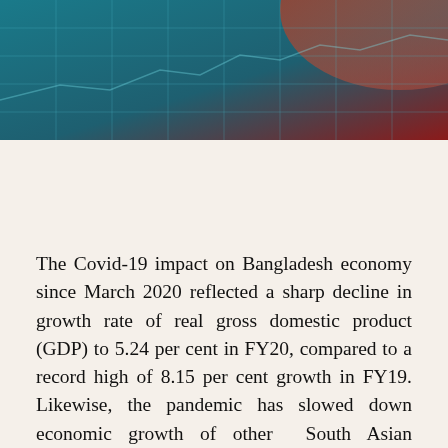[Figure (photo): Abstract financial/economic background image with teal/blue grid lines and red-orange gradient in the upper right corner]
The Covid-19 impact on Bangladesh economy since March 2020 reflected a sharp decline in growth rate of real gross domestic product (GDP) to 5.24 per cent in FY20, compared to a record high of 8.15 per cent growth in FY19. Likewise, the pandemic has slowed down economic growth of other South Asian countries in varying degrees. In order to avert possible economic disruptions, these countries, including